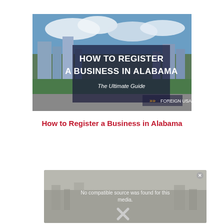[Figure (photo): Aerial photograph of an Alabama city skyline with overlaid text banner reading 'HOW TO REGISTER A BUSINESS IN ALABAMA – The Ultimate Guide' with a Foreign USA logo in the bottom right corner.]
How to Register a Business in Alabama
[Figure (screenshot): Video player placeholder showing 'No compatible source was found for this media.' with a close button and an X icon overlay.]